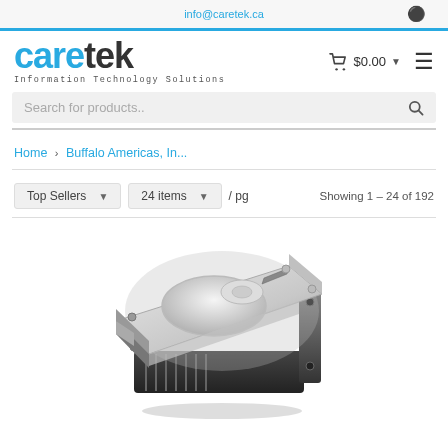info@caretek.ca
caretek Information Technology Solutions
Search for products..
Home > Buffalo Americas, In...
Top Sellers  24 items  /pg  Showing 1 - 24 of 192
[Figure (photo): Photo of a hard drive (HDD) product, viewed from above at an angle, showing silver metallic top with black edges and mounting bracket]